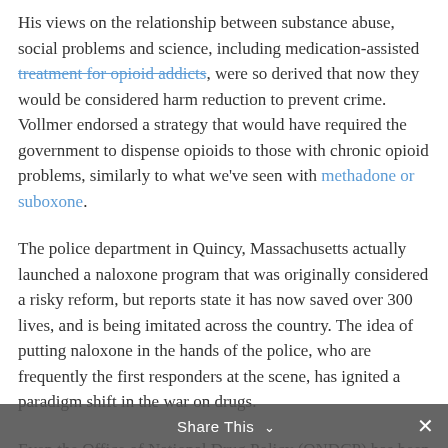His views on the relationship between substance abuse, social problems and science, including medication-assisted treatment for opioid addicts, were so derived that now they would be considered harm reduction to prevent crime. Vollmer endorsed a strategy that would have required the government to dispense opioids to those with chronic opioid problems, similarly to what we've seen with methadone or suboxone.
The police department in Quincy, Massachusetts actually launched a naloxone program that was originally considered a risky reform, but reports state it has now saved over 300 lives, and is being imitated across the country. The idea of putting naloxone in the hands of the police, who are frequently the first responders at the scene, has ignited a paradigm shift in the war on drugs.
Even the Office of National Drug Policy (ONDCP) has been increasingly using harm reduction language in discussing
Share This